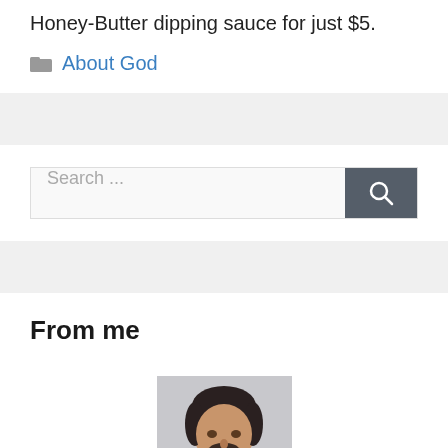Honey-Butter dipping sauce for just $5.
About God
Search ...
From me
[Figure (photo): Headshot of a man with dark hair and beard, wearing a dark shirt, against a light grey background.]